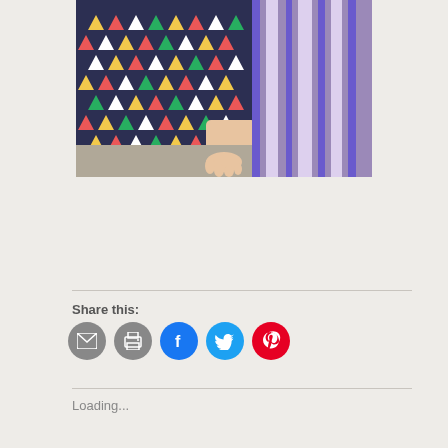[Figure (photo): Photo of two people sitting, one wearing a colorful triangle-patterned navy dress and the other wearing a purple and white striped outfit, sitting on stone pavement.]
Share this:
[Figure (other): Social share icons: email (gray), print (gray), Facebook (blue), Twitter (cyan), Pinterest (red)]
Loading...